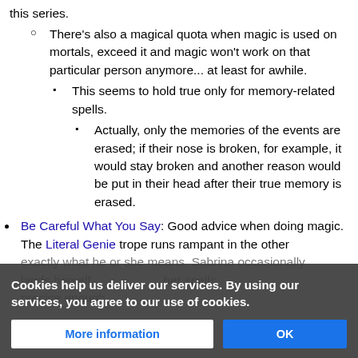this series.
There's also a magical quota when magic is used on mortals, exceed it and magic won't work on that particular person anymore... at least for awhile.
This seems to hold true only for memory-related spells.
Actually, only the memories of the events are erased; if their nose is broken, for example, it would stay broken and another reason would be put in their head after their true memory is erased.
Be Careful What You Say: Good advice when doing magic. The Literal Genie trope runs rampant in the other [series]. [Sabrina occasionally lands herself in trouble because she doesn't word her spells precise enough.]
Cookies help us deliver our services. By using our services, you agree to our use of cookies.